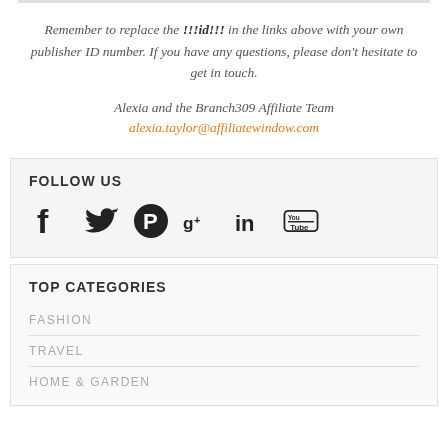Remember to replace the !!!id!!! in the links above with your own publisher ID number. If you have any questions, please don't hesitate to get in touch.
Alexia and the Branch309 Affiliate Team
alexia.taylor@affiliatewindow.com
FOLLOW US
[Figure (illustration): Social media icons: Facebook, Twitter, Pinterest, Google+, LinkedIn, YouTube]
TOP CATEGORIES
FASHION
TRAVEL
HOME & GARDEN